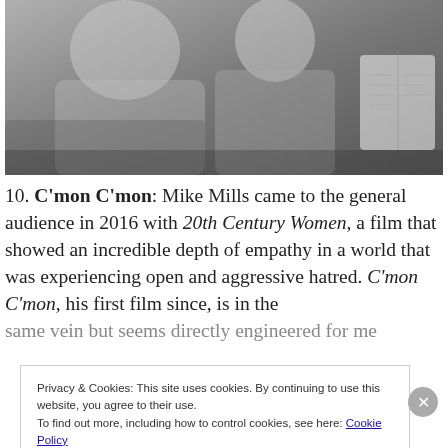[Figure (photo): Black and white photo of an adult man and a child sitting together, the child smiling, with an open book visible on the right side.]
10. C'mon C'mon: Mike Mills came to the general audience in 2016 with 20th Century Women, a film that showed an incredible depth of empathy in a world that was experiencing open and aggressive hatred. C'mon C'mon, his first film since, is in the same vein but seems directly engineered for me
Privacy & Cookies: This site uses cookies. By continuing to use this website, you agree to their use.
To find out more, including how to control cookies, see here: Cookie Policy
Close and accept